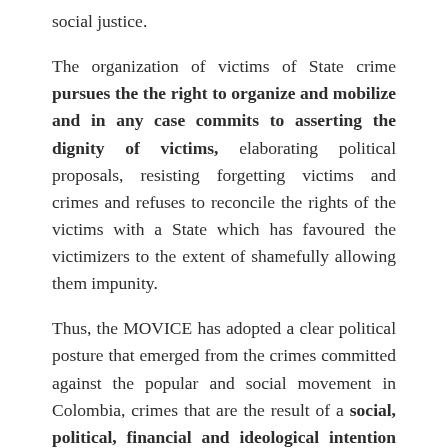social justice.
The organization of victims of State crime pursues the the right to organize and mobilize and in any case commits to asserting the dignity of victims, elaborating political proposals, resisting forgetting victims and crimes and refuses to reconcile the rights of the victims with a State which has favoured the victimizers to the extent of shamefully allowing them impunity.
Thus, the MOVICE has adopted a clear political posture that emerged from the crimes committed against the popular and social movement in Colombia, crimes that are the result of a social, political, financial and ideological intention promoted or allowed by the Colombian State and its agents and implemented by